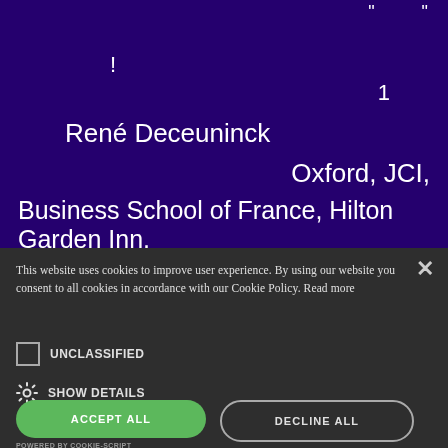" "
!
1
René Deceuninck
Oxford, JCI,
Business School of France, Hilton Garden Inn,
This website uses cookies to improve user experience. By using our website you consent to all cookies in accordance with our Cookie Policy. Read more
UNCLASSIFIED
SHOW DETAILS
ACCEPT ALL
DECLINE ALL
POWERED BY COOKIE-SCRIPT